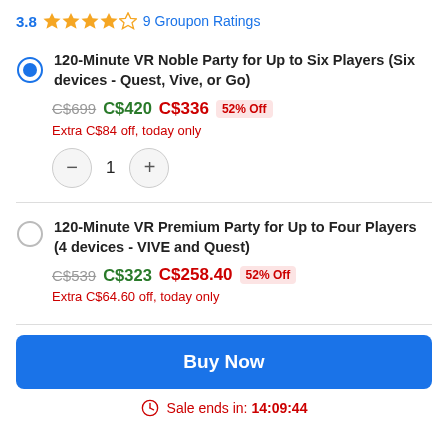3.8 ★★★★☆ 9 Groupon Ratings
120-Minute VR Noble Party for Up to Six Players (Six devices - Quest, Vive, or Go)
C$699 C$420 C$336 52% Off
Extra C$84 off, today only
1
120-Minute VR Premium Party for Up to Four Players (4 devices - VIVE and Quest)
C$539 C$323 C$258.40 52% Off
Extra C$64.60 off, today only
Buy Now
Sale ends in: 14:09:44